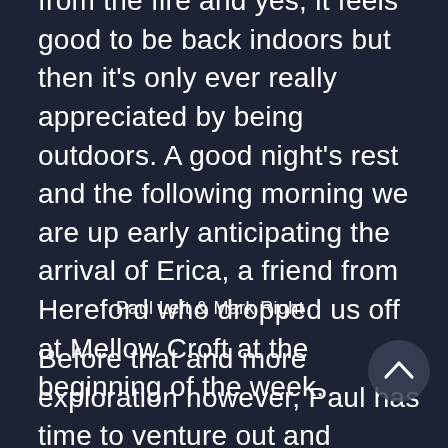from the fire and yes, it feels good to be back indoors but then it's only ever really appreciated by being outdoors. A good night's rest and the following morning we are up early anticipating the arrival of Erica, a friend from Hereford who dropped us off at Mellow Croft at the beginning of the week.
Paul Left & Mark Right
Before that and more exploration however, Paul has time to venture out and replenish the supplies of wood for the fire by scouring the